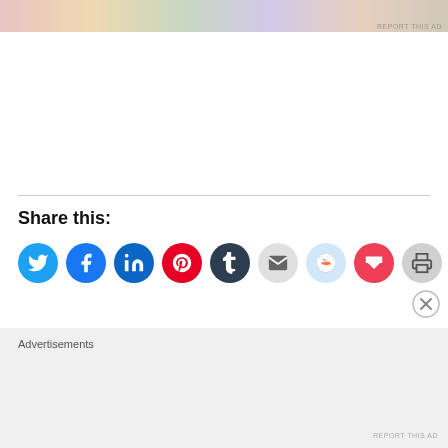[Figure (screenshot): Top banner ad area with colorful image strip and REPORT THIS AD text]
Share this:
[Figure (infographic): Row of social share icon buttons: Twitter (blue), Facebook (blue), LinkedIn (teal/blue), Pinterest (red), Tumblr (dark navy), Email (light gray), Reddit (light blue), Pocket (red), Print (light gray)]
Loading...
Advertisements
[Figure (screenshot): Bottom advertisement gray area with REPORT THIS AD text and close X button]